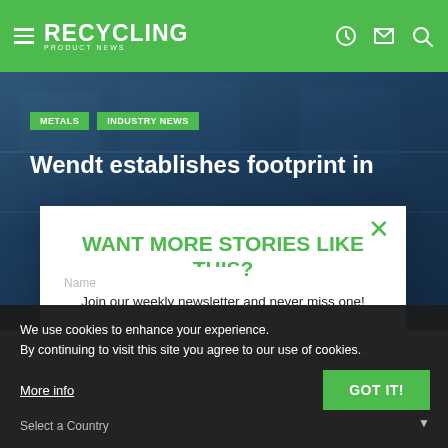RECYCLING PRODUCT NEWS
[Figure (screenshot): Article page background showing industrial machinery/recycling equipment in dark blue tones]
METALS   INDUSTRY NEWS
Wendt establishes footprint in
WANT MORE STORIES LIKE THIS?
Join our weekly newsletter and never miss one!
Fields marked with an asterisk (*) are mandatory
Email address
Name
Select a Country
We use cookies to enhance your experience.
By continuing to visit this site you agree to our use of cookies.
More info
GOT IT!